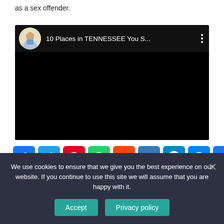as a sex offender.
[Figure (screenshot): Embedded YouTube video player showing title '10 Places in TENNESSEE You S...' with a channel avatar thumbnail and three-dot menu, black video area.]
[Figure (infographic): Social share buttons row: Facebook, Twitter, Pinterest, WhatsApp, Reddit, Email, Telegram, Messenger, Share+]
We use cookies to ensure that we give you the best experience on our website. If you continue to use this site we will assume that you are happy with it.